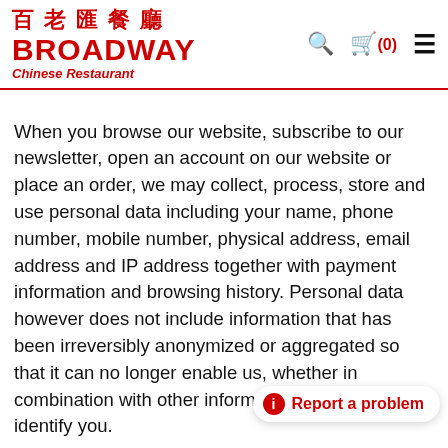百老匯餐廳 BROADWAY Chinese Restaurant
When you browse our website, subscribe to our newsletter, open an account on our website or place an order, we may collect, process, store and use personal data including your name, phone number, mobile number, physical address, email address and IP address together with payment information and browsing history. Personal data however does not include information that has been irreversibly anonymized or aggregated so that it can no longer enable us, whether in combination with other information or otherwise, to identify you.
All personal data that you provide to us must be true, complete and accurate. If you pro inaccurate or false data, and we suspect of identity
Report a problem